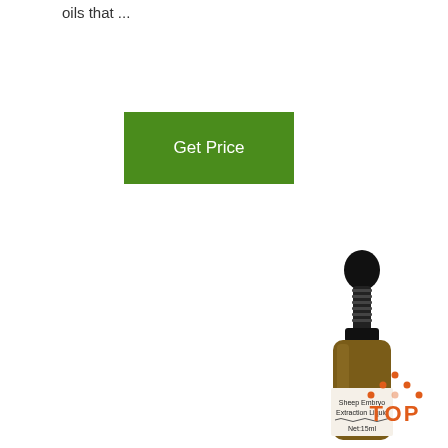oils that ...
[Figure (other): Green 'Get Price' button]
[Figure (other): Customer service widget with '24/7 Online' header, photo of woman with headset, 'Click here for free chat!' text, and orange 'QUOTATION' button]
[Figure (photo): Dropper bottle labeled 'Sheep Embryo Extraction Liquid Net:15ml']
[Figure (other): Orange and dark 'TOP' back-to-top button with dots forming a triangle]